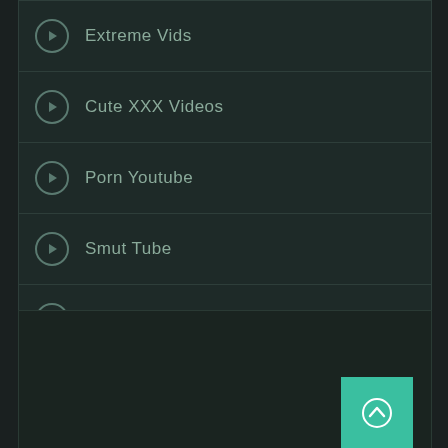Extreme Vids
Cute XXX Videos
Porn Youtube
Smut Tube
2000 Tube
[Figure (screenshot): Dark panel area with Tinder-style like/dislike icons (flame and X) and a teal scroll-to-top button in the bottom right corner]